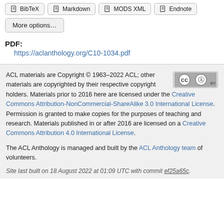BibTeX
Markdown
MODS XML
Endnote
More options…
PDF:
https://aclanthology.org/C10-1034.pdf
ACL materials are Copyright © 1963–2022 ACL; other materials are copyrighted by their respective copyright holders. Materials prior to 2016 here are licensed under the Creative Commons Attribution-NonCommercial-ShareAlike 3.0 International License. Permission is granted to make copies for the purposes of teaching and research. Materials published in or after 2016 are licensed on a Creative Commons Attribution 4.0 International License.
The ACL Anthology is managed and built by the ACL Anthology team of volunteers.
Site last built on 18 August 2022 at 01:09 UTC with commit ef25a65c.